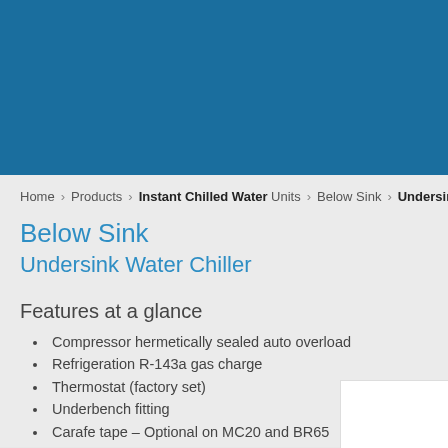[Figure (photo): Blue hero banner image for product page, solid steel blue background with partial product image at far right edge]
Home › Products › Instant Chilled Water Units › Below Sink › Undersink
Below Sink
Undersink Water Chiller
Features at a glance
Compressor hermetically sealed auto overload
Refrigeration R-143a gas charge
Thermostat (factory set)
Underbench fitting
Carafe tape – Optional on MC20 and BR65